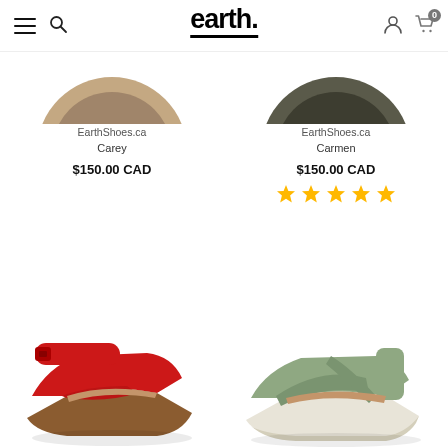earth. (navigation bar with hamburger menu, search, account, and cart icons)
[Figure (photo): Partial view of shoe sole/bottom for Carey product (top cropped)]
EarthShoes.ca
Carey
$150.00 CAD
[Figure (photo): Partial view of shoe sole/bottom for Carmen product (top cropped)]
EarthShoes.ca
Carmen
$150.00 CAD
[Figure (other): 5 gold star rating for Carmen product]
[Figure (photo): Red wedge sandal with ankle strap (Carey or similar product)]
[Figure (photo): Sage/green wedge sandal with cross-strap design (Carmen or similar product)]